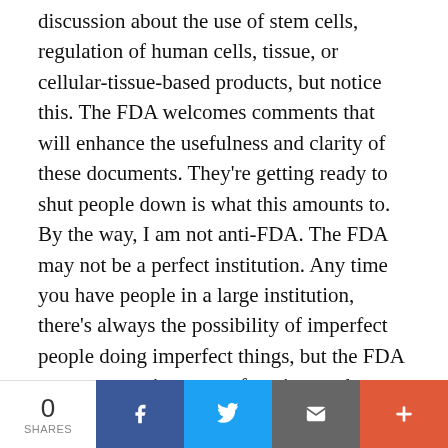discussion about the use of stem cells, regulation of human cells, tissue, or cellular-tissue-based products, but notice this. The FDA welcomes comments that will enhance the usefulness and clarity of these documents. They're getting ready to shut people down is what this amounts to. By the way, I am not anti-FDA. The FDA may not be a perfect institution. Any time you have people in a large institution, there's always the possibility of imperfect people doing imperfect things, but the FDA serves a very important function, and having a device that I'm sure is giving me a sterile liquid that actually has platelets in it is extremely important, and it's reproducible so
0 SHARES | Facebook | Twitter | Email | +